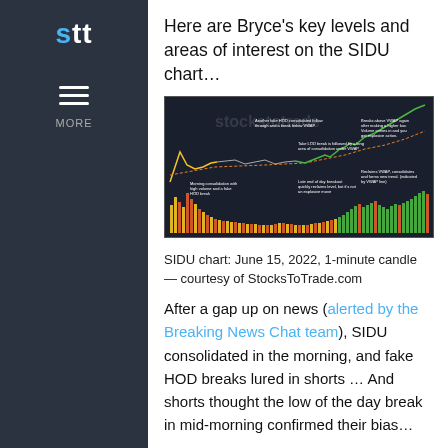Here are Bryce's key levels and areas of interest on the SIDU chart…
[Figure (screenshot): SIDU 1-minute candle chart from StocksToTrade.com dated June 15, 2022, showing price action with annotations about morning consolidation, fake HOD breaks, VWAP interactions, and explosive action.]
SIDU chart: June 15, 2022, 1-minute candle — courtesy of StocksToTrade.com
After a gap up on news (alerted by the Breaking News Chat team), SIDU consolidated in the morning, and fake HOD breaks lured in shorts … And shorts thought the low of the day break in mid-morning confirmed their bias…